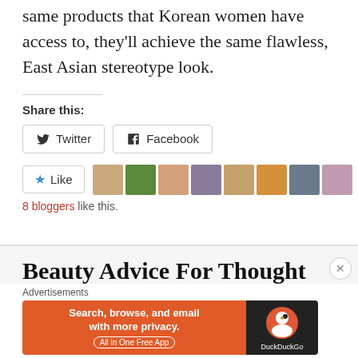same products that Korean women have access to, they'll achieve the same flawless, East Asian stereotype look.
Share this:
[Figure (other): Share buttons for Twitter and Facebook]
[Figure (other): Like button with 8 blogger avatars. 8 bloggers like this.]
Beauty Advice For Thought
[Figure (other): DuckDuckGo advertisement banner: Search, browse, and email with more privacy. All in One Free App.]